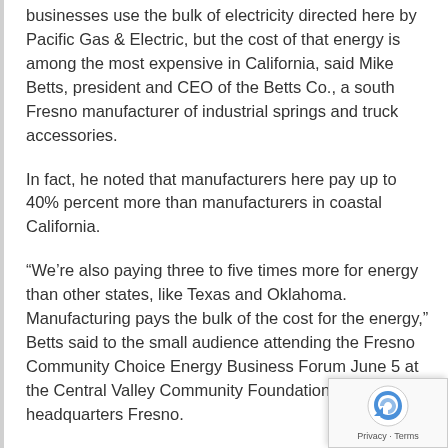businesses use the bulk of electricity directed here by Pacific Gas & Electric, but the cost of that energy is among the most expensive in California, said Mike Betts, president and CEO of the Betts Co., a south Fresno manufacturer of industrial springs and truck accessories.
In fact, he noted that manufacturers here pay up to 40% percent more than manufacturers in coastal California.
“We’re also paying three to five times more for energy than other states, like Texas and Oklahoma. Manufacturing pays the bulk of the cost for the energy,” Betts said to the small audience attending the Fresno Community Choice Energy Business Forum June 5 at the Central Valley Community Foundation headquarters Fresno.